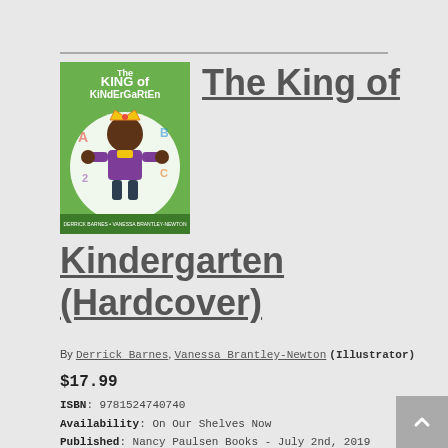[Figure (illustration): Book cover of 'The King of Kindergarten' showing a young boy wearing a crown against a green background with colorful letters, authored by Derrick Barnes and illustrated by Vanessa Brantley-Newton]
The King of Kindergarten (Hardcover)
By Derrick Barnes, Vanessa Brantley-Newton (Illustrator)
$17.99
ISBN: 9781524740740
Availability: On Our Shelves Now
Published: Nancy Paulsen Books - July 2nd, 2019